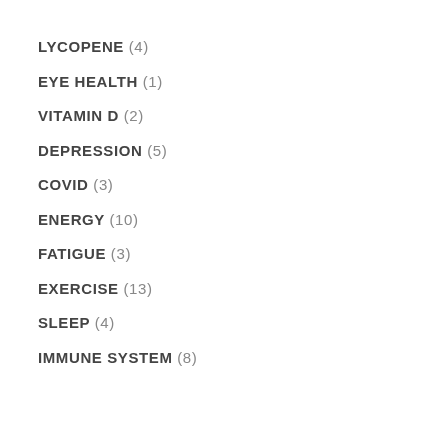LYCOPENE (4)
EYE HEALTH (1)
VITAMIN D (2)
DEPRESSION (5)
COVID (3)
ENERGY (10)
FATIGUE (3)
EXERCISE (13)
SLEEP (4)
IMMUNE SYSTEM (8)